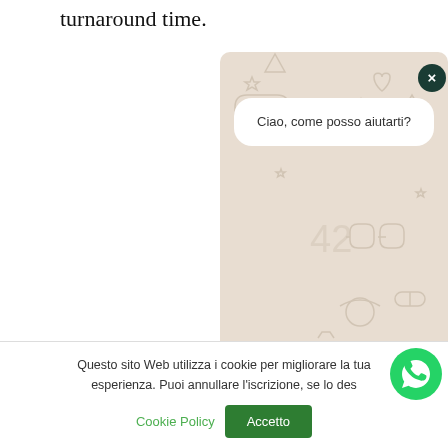turnaround time.
[Figure (screenshot): WhatsApp chat popup overlay with decorative doodle background, message bubble saying 'Ciao, come posso aiutarti?', text input field, and send button. A dark green close button (×) is in the top-right corner.]
Rela
Questo sito Web utilizza i cookie per migliorare la tua esperienza. Puoi annullare l'iscrizione, se lo des
Cookie Policy
Accetto
[Figure (logo): WhatsApp floating action button icon (green circle with white WhatsApp logo)]